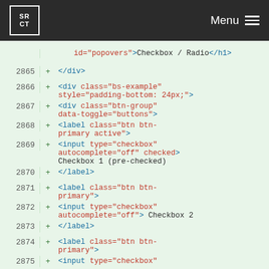SRCT | Menu
id="popovers">Checkbox / Radio</h1>
2865 + </div>
2866 + <div class="bs-example" style="padding-bottom: 24px;">
2867 + <div class="btn-group" data-toggle="buttons">
2868 + <label class="btn btn-primary active">
2869 + <input type="checkbox" autocomplete="off" checked> Checkbox 1 (pre-checked)
2870 + </label>
2871 + <label class="btn btn-primary">
2872 + <input type="checkbox" autocomplete="off"> Checkbox 2
2873 + </label>
2874 + <label class="btn btn-primary">
2875 + <input type="checkbox"